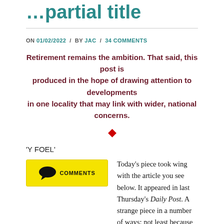…partial title (cut off at top)
ON 01/02/2022 / BY JAC / 34 COMMENTS
Retirement remains the ambition. That said, this post is produced in the hope of drawing attention to developments in one locality that may link with wider, national concerns.
'Y FOEL'
[Figure (other): Yellow comments button/badge with speech bubble icon and text COMMENTS]
Today's piece took wing with the article you see below. It appeared in last Thursday's Daily Post. A strange piece in a number of ways; not least because the more I read it the less sure I was of what it was trying to say.